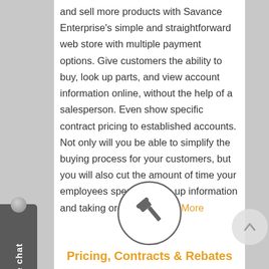and sell more products with Savance Enterprise's simple and straightforward web store with multiple payment options. Give customers the ability to buy, look up parts, and view account information online, without the help of a salesperson. Even show specific contract pricing to established accounts. Not only will you be able to simplify the buying process for your customers, but you will also cut the amount of time your employees spend looking up information and taking orders. » Learn More
[Figure (illustration): A circular icon containing a gavel/hammer symbol representing contracts or legal agreements]
Pricing, Contracts & Rebates